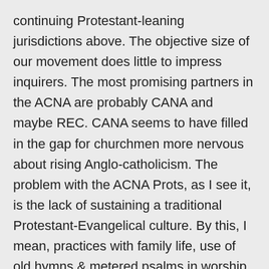continuing Protestant-leaning jurisdictions above. The objective size of our movement does little to impress inquirers. The most promising partners in the ACNA are probably CANA and maybe REC. CANA seems to have filled in the gap for churchmen more nervous about rising Anglo-catholicism. The problem with the ACNA Prots, as I see it, is the lack of sustaining a traditional Protestant-Evangelical culture. By this, I mean, practices with family life, use of old hymns & metered psalms in worship, keeping the Lord's Day as a Sabbath, reading from the Authorized version(s), and the general absence of a serious discipline or good